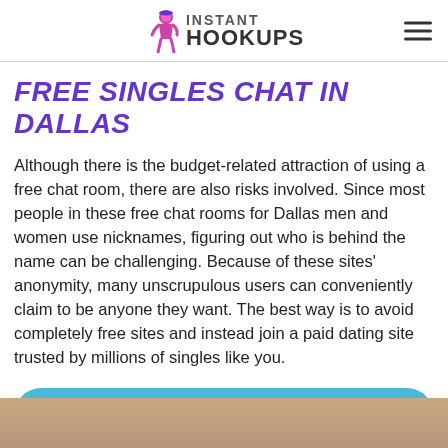INSTANT HOOKUPS
FREE SINGLES CHAT IN DALLAS
Although there is the budget-related attraction of using a free chat room, there are also risks involved. Since most people in these free chat rooms for Dallas men and women use nicknames, figuring out who is behind the name can be challenging. Because of these sites' anonymity, many unscrupulous users can conveniently claim to be anyone they want. The best way is to avoid completely free sites and instead join a paid dating site trusted by millions of singles like you.
[Figure (other): SIGN IN button (blue rounded rectangle)]
[Figure (photo): Partial photo of a woman at the bottom of the page]